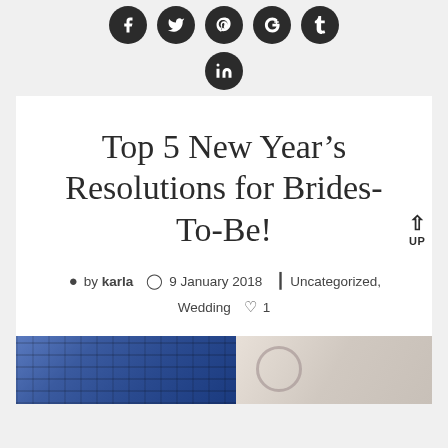[Figure (other): Row of social media icon buttons: Facebook, Twitter, Pinterest, Google+, Tumblr — dark circular buttons with white icons]
[Figure (other): LinkedIn social media icon button — dark circular button with white 'in' icon]
Top 5 New Year's Resolutions for Brides-To-Be!
by karla  9 January 2018  Uncategorized, Wedding  1
[Figure (photo): Bottom image strip showing partial photos: left side shows keyboard/tech device with blue tones, right side shows circular/ring object on light background]